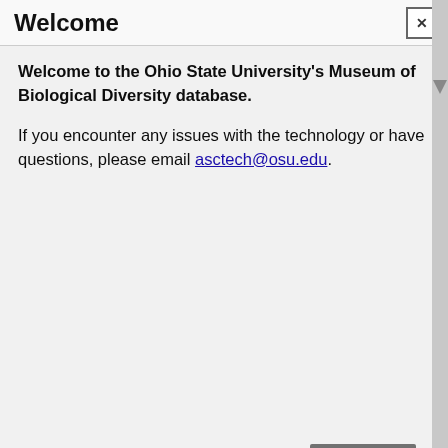[Figure (screenshot): Background website screenshot showing OSU Museum of Biological Diversity database page with navigation bar, search area, name display for Silva R. R. (Rogério R.), and Person Info section]
Welcome
Welcome to the Ohio State University's Museum of Biological Diversity database.
If you encounter any issues with the technology or have questions, please email asctech@osu.edu.
Close